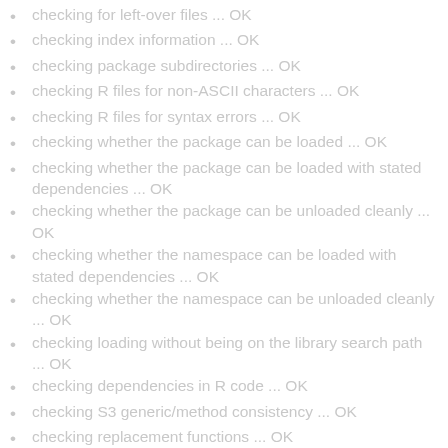checking for left-over files ... OK
checking index information ... OK
checking package subdirectories ... OK
checking R files for non-ASCII characters ... OK
checking R files for syntax errors ... OK
checking whether the package can be loaded ... OK
checking whether the package can be loaded with stated dependencies ... OK
checking whether the package can be unloaded cleanly ... OK
checking whether the namespace can be loaded with stated dependencies ... OK
checking whether the namespace can be unloaded cleanly ... OK
checking loading without being on the library search path ... OK
checking dependencies in R code ... OK
checking S3 generic/method consistency ... OK
checking replacement functions ... OK
checking foreign function calls ... OK
checking R code for possible problems ... [4s/4s] OK
checking Rd files ... [1s/1s] OK
checking Rd metadata ... OK
checking Rd cross-references ... OK
checking for missing documentation entries ... OK